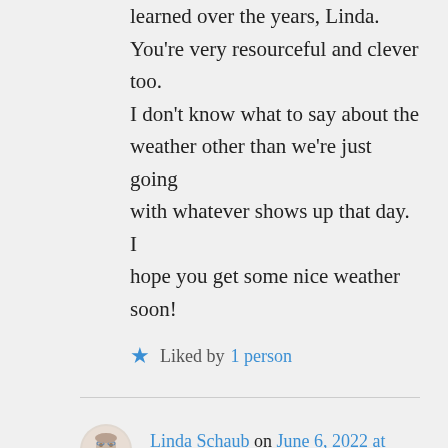learned over the years, Linda. You're very resourceful and clever too.
I don't know what to say about the weather other than we're just going with whatever shows up that day. I hope you get some nice weather soon!
Liked by 1 person
Linda Schaub on June 6, 2022 at 9:46 pm
Well this morning I went shopping – no perishables though as we're